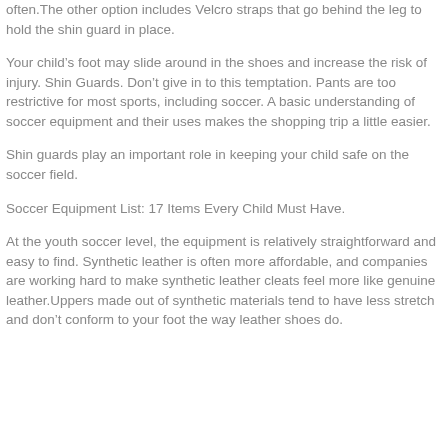often.The other option includes Velcro straps that go behind the leg to hold the shin guard in place.
Your child’s foot may slide around in the shoes and increase the risk of injury. Shin Guards. Don’t give in to this temptation. Pants are too restrictive for most sports, including soccer. A basic understanding of soccer equipment and their uses makes the shopping trip a little easier.
Shin guards play an important role in keeping your child safe on the soccer field.
Soccer Equipment List: 17 Items Every Child Must Have.
At the youth soccer level, the equipment is relatively straightforward and easy to find. Synthetic leather is often more affordable, and companies are working hard to make synthetic leather cleats feel more like genuine leather.Uppers made out of synthetic materials tend to have less stretch and don’t conform to your foot the way leather shoes do.